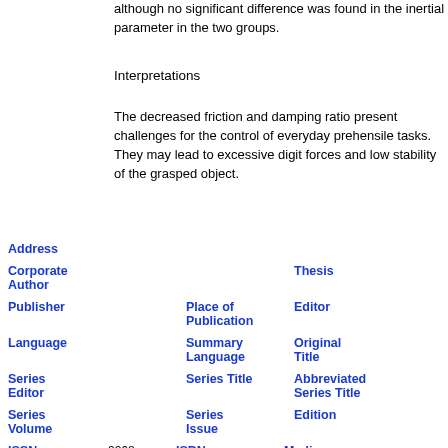although no significant difference was found in the inertial parameter in the two groups.
Interpretations
The decreased friction and damping ratio present challenges for the control of everyday prehensile tasks. They may lead to excessive digit forces and low stability of the grasped object.
| Label | Value | Label | Value | Label | Value |
| --- | --- | --- | --- | --- | --- |
| Address |  |  |  |  |  |
| Corporate Author |  |  |  | Thesis |  |
| Publisher |  | Place of Publication |  | Editor |  |
| Language |  | Summary Language |  | Original Title |  |
| Series Editor |  | Series Title |  | Abbreviated Series Title |  |
| Series Volume |  | Series Issue |  | Edition |  |
| ISSN | 0268-0033 | ISBN |  | Medium ↑ |  |
| Area |  | Expedition |  | Conference |  |
| Notes |  |  |  | Approved | no |
| Call |  |  |  | Serial | 73 |